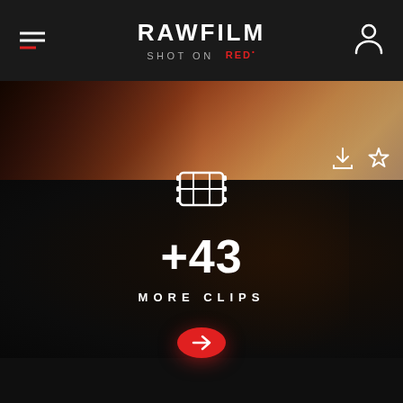RAWFILM — SHOT ON RED
[Figure (screenshot): Dark cinematic video still showing a warm sunset/fire-toned background with silhouetted figure, two icons (download and star) in bottom right]
[Figure (infographic): Dark overlay panel showing film strip icon, '+43 MORE CLIPS' text, and a red circular arrow button]